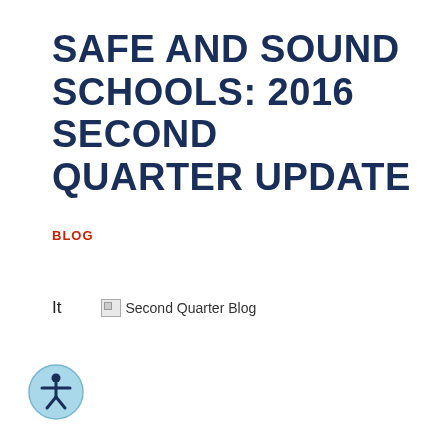SAFE AND SOUND SCHOOLS: 2016 SECOND QUARTER UPDATE
BLOG
It   [Second Quarter Blog]
[Figure (other): Accessibility icon button - circular light blue button with a person/accessibility symbol]